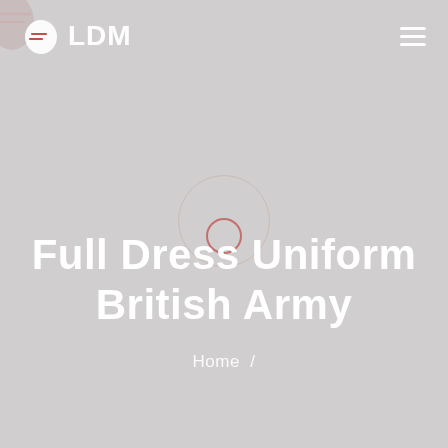LDM
Full Dress Uniform British Army
Home /